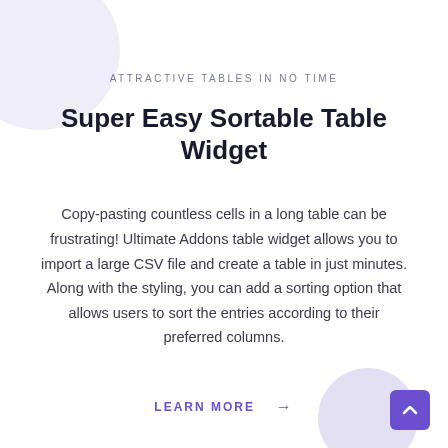ATTRACTIVE TABLES IN NO TIME
Super Easy Sortable Table Widget
Copy-pasting countless cells in a long table can be frustrating! Ultimate Addons table widget allows you to import a large CSV file and create a table in just minutes. Along with the styling, you can add a sorting option that allows users to sort the entries according to their preferred columns.
LEARN MORE →